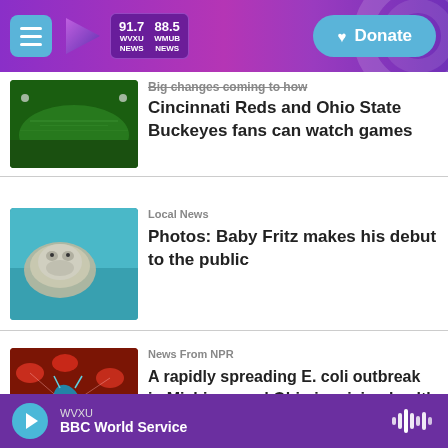WVXU 91.7 NEWS | WMUB 88.5 NEWS | Donate
[Figure (photo): Aerial view of a baseball stadium field]
Big changes coming to how Cincinnati Reds and Ohio State Buckeyes fans can watch games
[Figure (photo): Hippopotamus underwater in teal water]
Local News
Photos: Baby Fritz makes his debut to the public
[Figure (photo): E. coli bacteria illustration with red blood cells on dark red background]
News From NPR
A rapidly spreading E. coli outbreak in Michigan and Ohio is raising health alarms
WVXU — BBC World Service